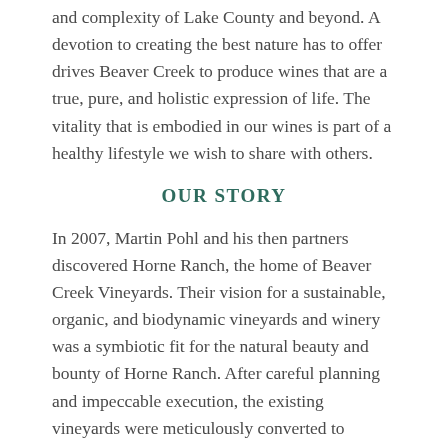and complexity of Lake County and beyond. A devotion to creating the best nature has to offer drives Beaver Creek to produce wines that are a true, pure, and holistic expression of life. The vitality that is embodied in our wines is part of a healthy lifestyle we wish to share with others.
OUR STORY
In 2007, Martin Pohl and his then partners discovered Horne Ranch, the home of Beaver Creek Vineyards. Their vision for a sustainable, organic, and biodynamic vineyards and winery was a symbiotic fit for the natural beauty and bounty of Horne Ranch. After careful planning and impeccable execution, the existing vineyards were meticulously converted to organic and biodynamic farming practices. The CCOF certification was received in 2009 and in 2010 the Demeter Biodynamic certification followed. As part of this process, Beaver Creek Vineyards became home to a variety of animals and gardens that support the organic and biodynamic processes: chickens, sheep, bees, olives, and a walnut orchard all contribute to the vitality of our wine.